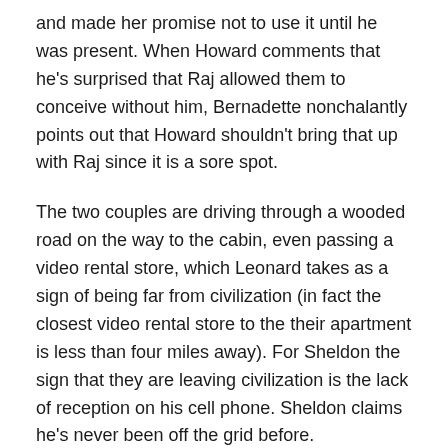and made her promise not to use it until he was present. When Howard comments that he's surprised that Raj allowed them to conceive without him, Bernadette nonchalantly points out that Howard shouldn't bring that up with Raj since it is a sore spot.
The two couples are driving through a wooded road on the way to the cabin, even passing a video rental store, which Leonard takes as a sign of being far from civilization (in fact the closest video rental store to the their apartment is less than four miles away). For Sheldon the sign that they are leaving civilization is the lack of reception on his cell phone. Sheldon claims he's never been off the grid before.
As Raj pulls up to the Wolowitzes, they are preparing to